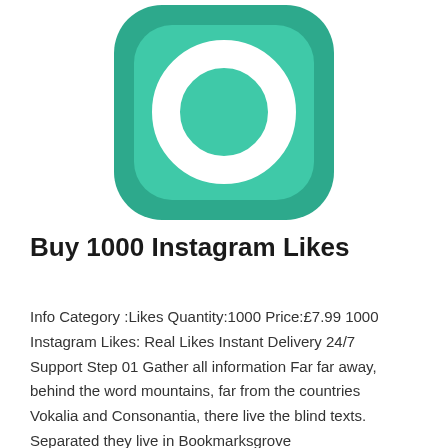[Figure (logo): A teal/green rounded square logo icon with a lighter green inner rounded square and a white circle/ring in the center, resembling a camera or app icon.]
Buy 1000 Instagram Likes
Info Category :Likes Quantity:1000 Price:£7.99 1000 Instagram Likes: Real Likes Instant Delivery 24/7 Support Step 01 Gather all information Far far away, behind the word mountains, far from the countries Vokalia and Consonantia, there live the blind texts. Separated they live in Bookmarksgrove